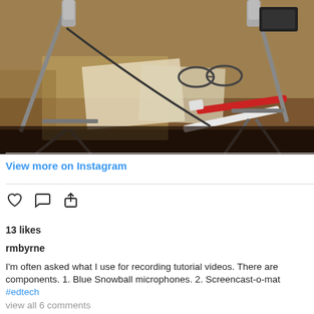[Figure (photo): Overhead view of a cluttered desk with microphone stands, markers/pens, papers, glasses, and various items on a wooden surface.]
View more on Instagram
13 likes
rmbyrne
I'm often asked what I use for recording tutorial videos. There are components. 1. Blue Snowball microphones. 2. Screencast-o-mat #edtech
view all 6 comments